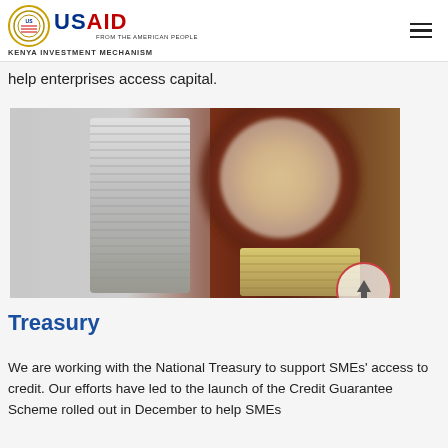USAID FROM THE AMERICAN PEOPLE — KENYA INVESTMENT MECHANISM
help enterprises access capital.
[Figure (photo): Stack of silver coins in front of a blurred clock and dark wooden background, with smaller coin stacks visible in the lower right.]
Treasury
We are working with the National Treasury to support SMEs' access to credit. Our efforts have led to the launch of the Credit Guarantee Scheme rolled out in December to help SMEs